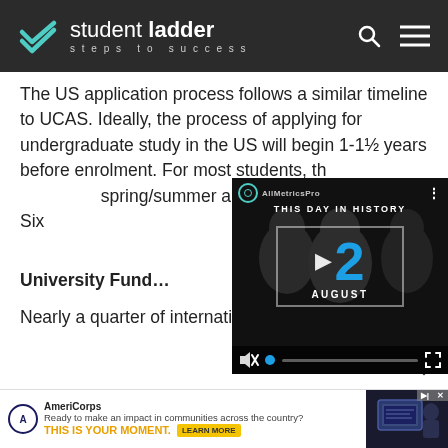student ladder — steps to success
The US application process follows a similar timeline to UCAS. Ideally, the process of applying for undergraduate study in the US will begin 1-1½ years before enrolment. For most students, the spring/summer at school Lower Six…
[Figure (screenshot): Embedded video player showing 'THIS DAY IN HISTORY' with date 12 AUGUST, with playback controls at bottom]
University Fund…
Nearly a quarter of international students re… e o… th…
[Figure (screenshot): AmeriCorps advertisement banner: 'Ready to make an impact in communities across the country? THIS IS YOUR MOMENT.' with LEARN MORE button]